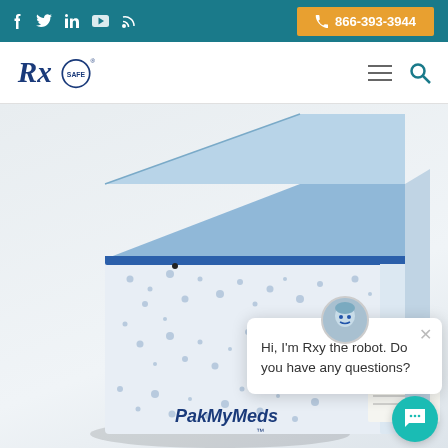RxSafe website header with social icons (f, Twitter, in, YouTube, RSS) and phone number 866-393-3944
[Figure (logo): RxSafe logo with Rx in italic serif and SAFE in small caps inside circle]
[Figure (photo): PakMyMeds product box - a blue and white speckled dispenser box with blue lid, labeled PakMyMeds, with a medication label roll visible]
Hi, I'm Rxy the robot. Do you have any questions?